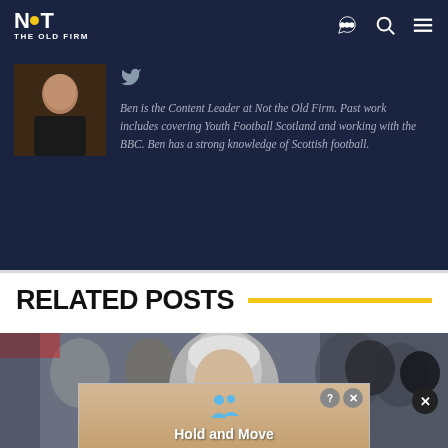NOT THE OLD FIRM
[Figure (photo): Author photo showing a person in dark clothing against a blurred indoor background]
Ben is the Content Leader at Not the Old Firm. Past work includes covering Youth Football Scotland and working with the BBC. Ben has a strong knowledge of Scottish football.
RELATED POSTS
[Figure (photo): Photo of a grey-haired man at what appears to be a football match, crowd visible in background]
[Figure (infographic): Advertisement overlay showing 'Hold and Move' with blue people figures icons on a tan/brown background]